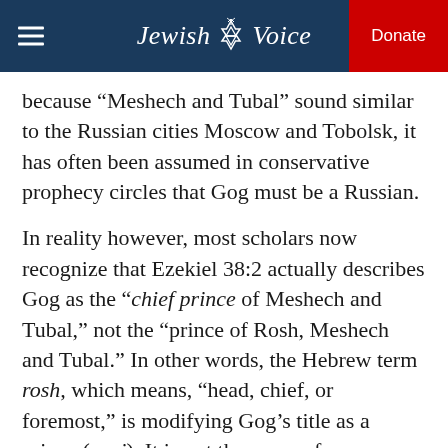Jewish Voice | Donate
because “Meshech and Tubal” sound similar to the Russian cities Moscow and Tobolsk, it has often been assumed in conservative prophecy circles that Gog must be a Russian.
In reality however, most scholars now recognize that Ezekiel 38:2 actually describes Gog as the “chief prince of Meshech and Tubal,” not the “prince of Rosh, Meshech and Tubal.” In other words, the Hebrew term rosh, which means, “head, chief, or foremost,” is modifying Gog’s title as a prince (nasi). It is not the name of a particular place, which in